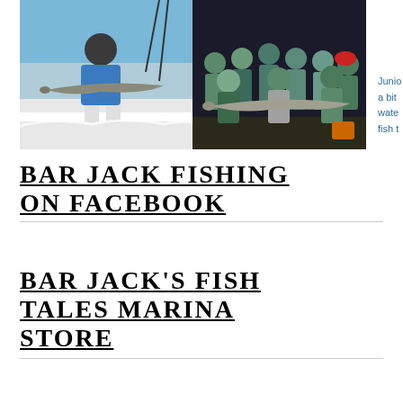[Figure (photo): Man on a boat holding a large fish (cobia/shark), daytime, blue sky and water in background]
[Figure (photo): Group of youth anglers at night on a dock/boat holding a large fish, group photo]
Junior… a bit… water… fish t…
BAR JACK FISHING ON FACEBOOK
BAR JACK'S FISH TALES MARINA STORE